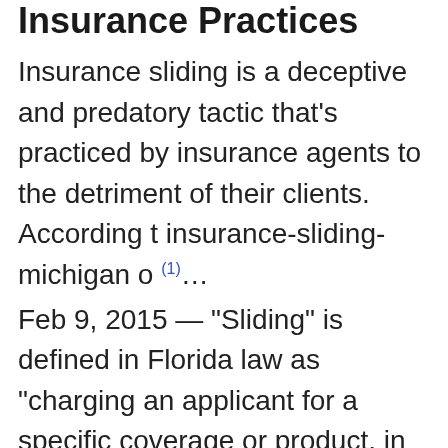Insurance Practices
Insurance sliding is a deceptive and predatory tactic that's practiced by insurance agents to the detriment of their clients. According t insurance-sliding-michigan o (1)...
Feb 9, 2015 — "Sliding" is defined in Florida law as "charging an applicant for a specific coverage or product, in addition to the cost of the insurance coverage (2)...
Mar 9, 2015 — Sliding is about an insurance agent or company